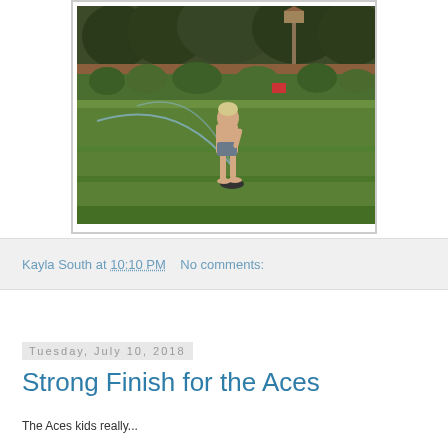[Figure (photo): A young child in swim trunks playing near a lawn sprinkler on a green grassy lawn, with trees and a garden in the background]
Kayla South at 10:10 PM   No comments:
Tuesday, July 10, 2018
Strong Finish for the Aces
The Aces kids really...